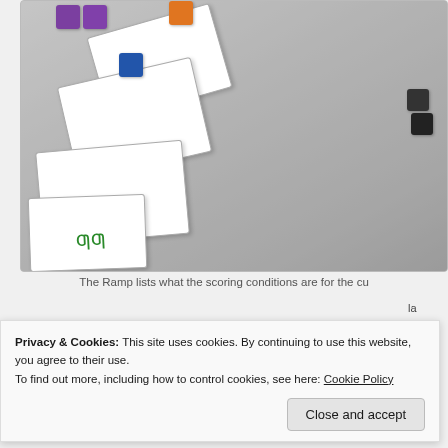[Figure (photo): Overhead photo of a board game in progress showing white cards/tiles laid out on a light grey surface with colored cubes (purple, orange, blue, black) placed on and around the cards. The cards contain handwritten or printed text and symbols.]
The Ramp lists what the scoring conditions are for the cu...
...la... d t... Th...
Privacy & Cookies: This site uses cookies. By continuing to use this website, you agree to their use.
To find out more, including how to control cookies, see here: Cookie Policy
Close and accept